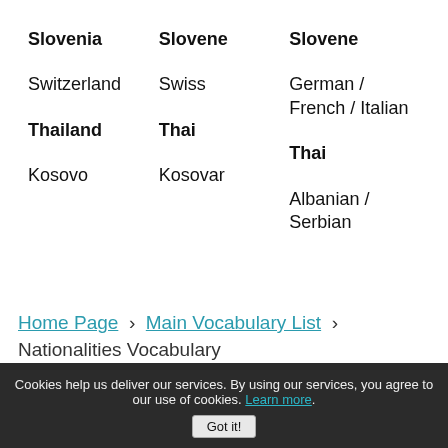| Country | Nationality | Language |
| --- | --- | --- |
| Slovenia | Slovene | Slovene |
| Switzerland | Swiss | German / French / Italian |
| Thailand | Thai | Thai |
| Kosovo | Kosovar | Albanian / Serbian |
Home Page › Main Vocabulary List › Nationalities Vocabulary
Cookies help us deliver our services. By using our services, you agree to our use of cookies. Learn more.